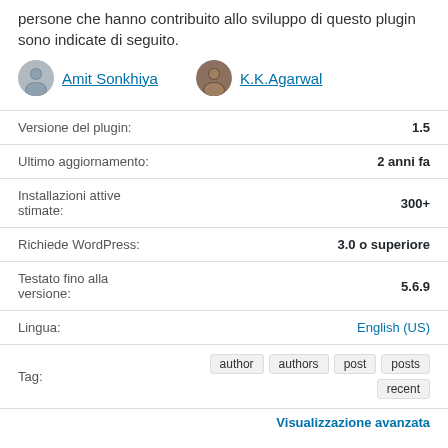persone che hanno contribuito allo sviluppo di questo plugin sono indicate di seguito.
Amit Sonkhiya  K.K.Agarwal
| Label | Value |
| --- | --- |
| Versione del plugin: | 1.5 |
| Ultimo aggiornamento: | 2 anni fa |
| Installazioni attive stimate: | 300+ |
| Richiede WordPress: | 3.0 o superiore |
| Testato fino alla versione: | 5.6.9 |
| Lingua: | English (US) |
| Tag: | author  authors  post  posts  recent |
Visualizzazione avanzata